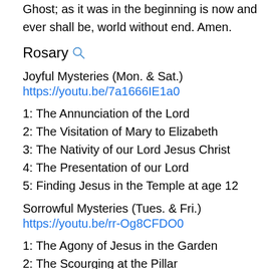Ghost; as it was in the beginning is now and ever shall be, world without end. Amen.
Rosary
Joyful Mysteries (Mon. & Sat.)
https://youtu.be/7a1666IE1a0
1: The Annunciation of the Lord
2: The Visitation of Mary to Elizabeth
3: The Nativity of our Lord Jesus Christ
4: The Presentation of our Lord
5: Finding Jesus in the Temple at age 12
Sorrowful Mysteries (Tues. & Fri.)
https://youtu.be/rr-Og8CFDO0
1: The Agony of Jesus in the Garden
2: The Scourging at the Pillar